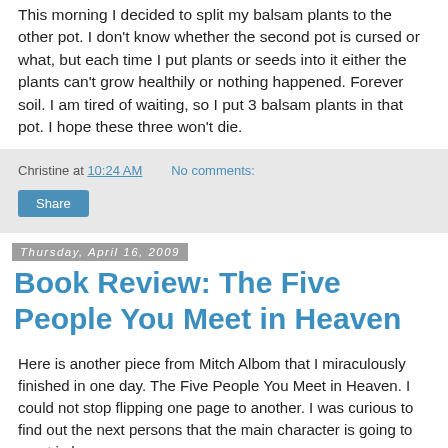This morning I decided to split my balsam plants to the other pot. I don't know whether the second pot is cursed or what, but each time I put plants or seeds into it either the plants can't grow healthily or nothing happened. Forever soil. I am tired of waiting, so I put 3 balsam plants in that pot. I hope these three won't die.
Christine at 10:24 AM   No comments:
Share
Thursday, April 16, 2009
Book Review: The Five People You Meet in Heaven
Here is another piece from Mitch Albom that I miraculously finished in one day. The Five People You Meet in Heaven. I could not stop flipping one page to another. I was curious to find out the next persons that the main character is going to meet in heaven.